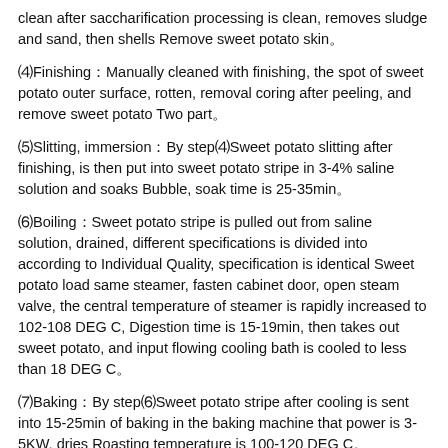clean after saccharification processing is clean, removes sludge and sand, then shells Remove sweet potato skin。
⑷Finishing：Manually cleaned with finishing, the spot of sweet potato outer surface, rotten, removal coring after peeling, and remove sweet potato Two part。
⑸Slitting, immersion：By step⑷Sweet potato slitting after finishing, is then put into sweet potato stripe in 3-4% saline solution and soaks Bubble, soak time is 25-35min。
⑹Boiling：Sweet potato stripe is pulled out from saline solution, drained, different specifications is divided into according to Individual Quality, specification is identical Sweet potato load same steamer, fasten cabinet door, open steam valve, the central temperature of steamer is rapidly increased to 102-108 DEG C, Digestion time is 15-19min, then takes out sweet potato, and input flowing cooling bath is cooled to less than 18 DEG C。
⑺Baking：By step⑹Sweet potato stripe after cooling is sent into 15-25min of baking in the baking machine that power is 3-5KW, dries Roasting temperature is 100-120 DEG C。